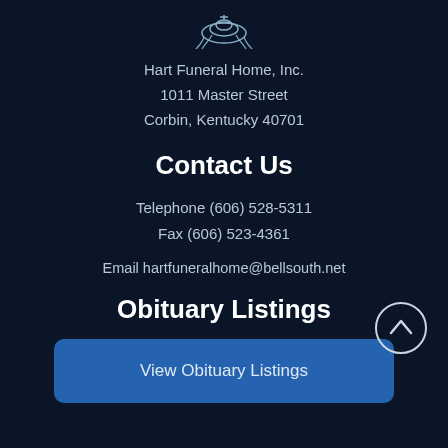[Figure (logo): Decorative logo/emblem at the top center of the page]
Hart Funeral Home, Inc.
1011 Master Street
Corbin, Kentucky 40701
Contact Us
Telephone (606) 528-5311
Fax (606) 523-4361
Email hartfuneralhome@bellsouth.net
Obituary Listings
View Obituary Listings